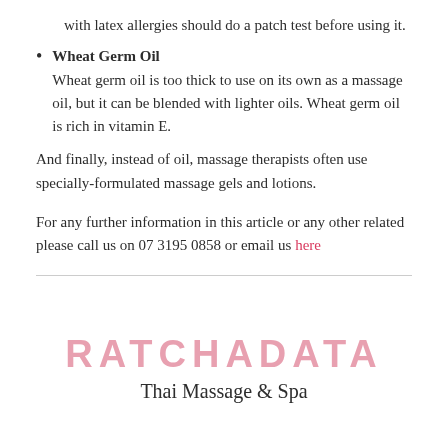with latex allergies should do a patch test before using it.
Wheat Germ Oil
Wheat germ oil is too thick to use on its own as a massage oil, but it can be blended with lighter oils. Wheat germ oil is rich in vitamin E.
And finally, instead of oil, massage therapists often use specially-formulated massage gels and lotions.
For any further information in this article or any other related please call us on 07 3195 0858 or email us here
RATCHADATA
Thai Massage & Spa